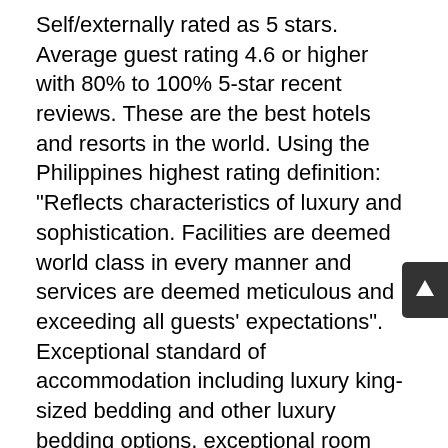Self/externally rated as 5 stars. Average guest rating 4.6 or higher with 80% to 100% 5-star recent reviews. These are the best hotels and resorts in the world. Using the Philippines highest rating definition: "Reflects characteristics of luxury and sophistication. Facilities are deemed world class in every manner and services are deemed meticulous and exceeding all guests' expectations". Exceptional standard of accommodation including luxury king-sized bedding and other luxury bedding options, exceptional room decor, views from some or most rooms where available, high quality finishes and a wide range of facilities. Very high praise for staff is mentioned in reviews. The hotel is in a safe, central location, surrounded by places of interest and offers an authentic local experience in design. Is very good to exceptional value for money. Offers a unique and special experience that extends well beyond supply of accommodation.